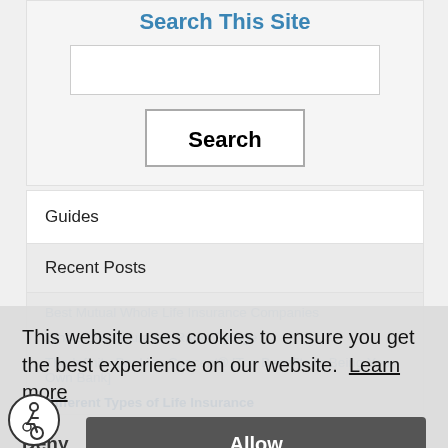Search This Site
Search
Guides
Recent Posts
Best Mutual Whole Life Insurance Companies
Whole Life Insurance Rates By Age
The Infinite Banking Concept® [Top Benefits to Being Your Own Bank]
Different Types of Life Insurance
This website uses cookies to ensure you get the best experience on our website.  Learn more
Deny
Allow